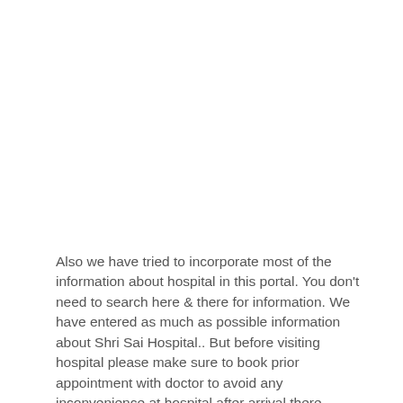Also we have tried to incorporate most of the information about hospital in this portal. You don't need to search here & there for information. We have entered as much as possible information about Shri Sai Hospital.. But before visiting hospital please make sure to book prior appointment with doctor to avoid any inconvenience at hospital after arrival there.
For more information like Doctors Availability, Appointments or for any other detailed information please visit official website of particular hospital.